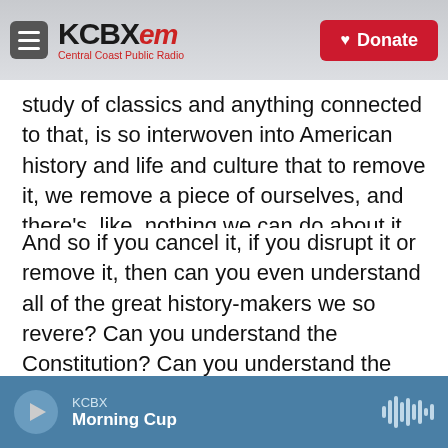KCBX FM Central Coast Public Radio | Donate
study of classics and anything connected to that, is so interwoven into American history and life and culture that to remove it, we remove a piece of ourselves, and there's, like, nothing we can do about it.
And so if you cancel it, if you disrupt it or remove it, then can you even understand all of the great history-makers we so revere? Can you understand the Constitution? Can you understand the makeup of our government? Can you understand that our logo is in Latin? Can you understand all the Latin logos with the armed forces? Can you understand
KCBX | Morning Cup